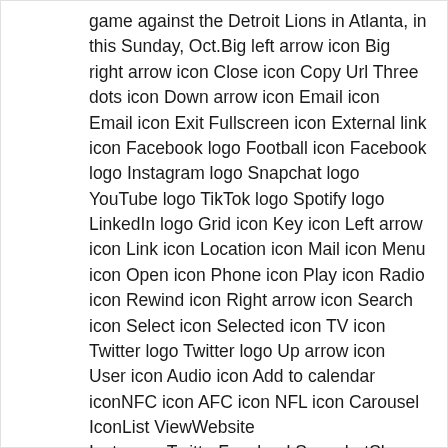game against the Detroit Lions in Atlanta, in this Sunday, Oct.Big left arrow icon Big right arrow icon Close icon Copy Url Three dots icon Down arrow icon Email icon Email icon Exit Fullscreen icon External link icon Facebook logo Football icon Facebook logo Instagram logo Snapchat logo YouTube logo TikTok logo Spotify logo LinkedIn logo Grid icon Key icon Left arrow icon Link icon Location icon Mail icon Menu icon Open icon Phone icon Play icon Radio icon Rewind icon Right arrow icon Search icon Select icon Selected icon TV icon Twitter logo Twitter logo Up arrow icon User icon Audio icon Add to calendar iconNFC icon AFC icon NFL icon Carousel IconList ViewWebsite InstagramTwitterFacebookSnapchatShop IconProfile Overlay AvatarAddAirplayArrow LeftArrow RightArrow UpArrow DownAudioBack 5sBack 10sBack 30sCalendarChartCheckDownLeftRightUpChromecast